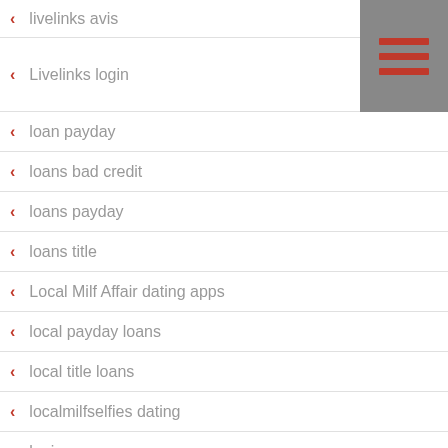livelinks avis
[Figure (other): Hamburger menu icon with three red horizontal bars on gray background]
Livelinks login
loan payday
loans bad credit
loans payday
loans title
Local Milf Affair dating apps
local payday loans
local title loans
localmilfselfies dating
login
lonely housewife hookup
long-term payday loans